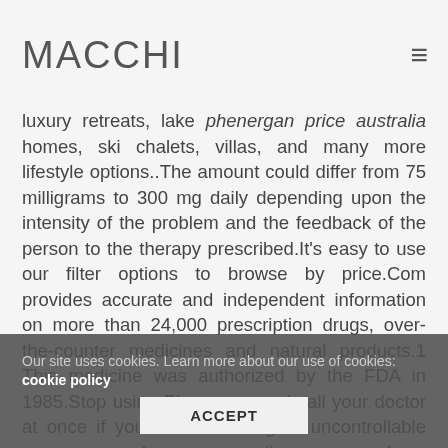MACCHI
luxury retreats, lake phenergan price australia homes, ski chalets, villas, and many more lifestyle options..The amount could differ from 75 milligrams to 300 mg daily depending upon the intensity of the problem and the feedback of the person to the therapy prescribed.It's easy to use our filter options to browse by price.Com provides accurate and independent information on more than 24,000 prescription drugs, over-the-counter medicines and natural products.1 This medicine was authorized by the FDA in 1985.Stop using Phenergan and call your doctor at once if you have twitching or uncontrollable movements of your eyes, lips, tongue, face, arms, or legs.Phenergan can additionally be recommended for dealing with vomiting and nausea or vomiting adhering to a surgery.It is highly bound to plasma proteins (93-99%).Reviews (3) Shipping & Delivery.Our delivery time is unmatched Best medications for real men, Fast Worldwide Shipping.Phenergan can be offered to
Our site uses cookies. Learn more about our use of cookies: cookie policy
ACCEPT